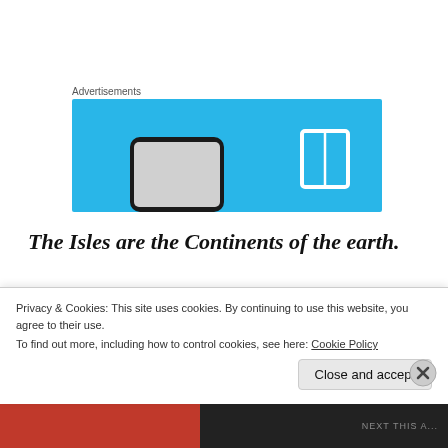Advertisements
[Figure (screenshot): Blue advertisement banner with a phone mockup and book icon on a light blue background]
The Isles are the Continents of the earth.
Genesis 10:5 | By these were the isles of the Gentiles divided in their lands; every one after his tongue, after their families, in their nations.
Privacy & Cookies: This site uses cookies. By continuing to use this website, you agree to their use.
To find out more, including how to control cookies, see here: Cookie Policy
Close and accept